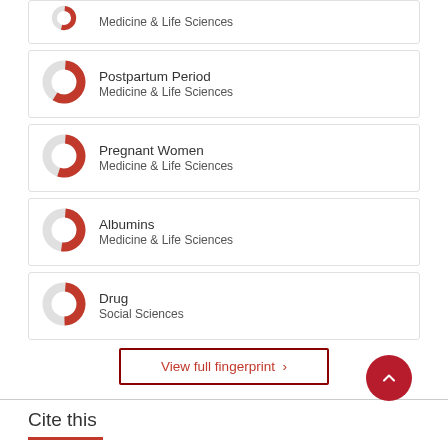Medicine & Life Sciences (partial donut icon)
Postpartum Period — Medicine & Life Sciences
Pregnant Women — Medicine & Life Sciences
Albumins — Medicine & Life Sciences
Drug — Social Sciences
View full fingerprint >
Cite this